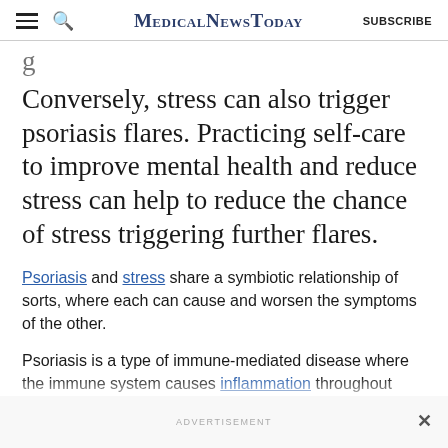MedicalNewsToday | SUBSCRIBE
Conversely, stress can also trigger psoriasis flares. Practicing self-care to improve mental health and reduce stress can help to reduce the chance of stress triggering further flares.
Psoriasis and stress share a symbiotic relationship of sorts, where each can cause and worsen the symptoms of the other.
Psoriasis is a type of immune-mediated disease where the immune system causes inflammation throughout
ADVERTISEMENT